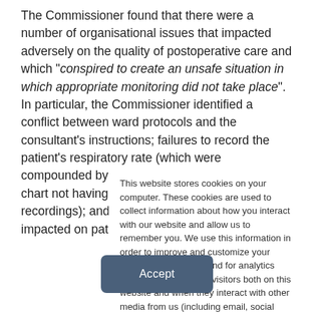The Commissioner found that there were a number of organisational issues that impacted adversely on the quality of postoperative care and which "conspired to create an unsafe situation in which appropriate monitoring did not take place".  In particular, the Commissioner identified a conflict between ward protocols and the consultant's instructions; failures to record the patient's respiratory rate (which were compounded by the Neurosurgery observation chart not having a specific place for such recordings); and a number of ward practices that impacted on patient care
This website stores cookies on your computer. These cookies are used to collect information about how you interact with our website and allow us to remember you. We use this information in order to improve and customize your browsing experience and for analytics and metrics about our visitors both on this website and when they interact with other media from us (including email, social media and landing pages). To find out more about the cookies we use, see our Privacy Policy.